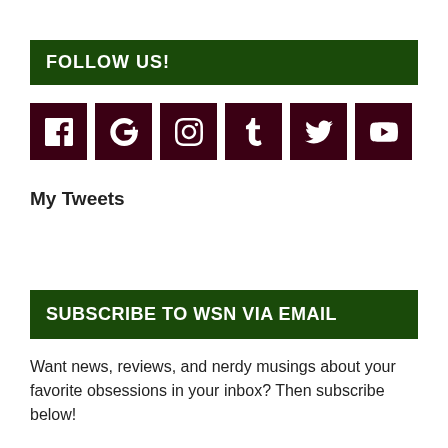FOLLOW US!
[Figure (infographic): Six social media icons in dark maroon square buttons: Facebook (f), Google+ (G+), Instagram (camera), Tumblr (t), Twitter (bird), YouTube (play button)]
My Tweets
SUBSCRIBE TO WSN VIA EMAIL
Want news, reviews, and nerdy musings about your favorite obsessions in your inbox? Then subscribe below!